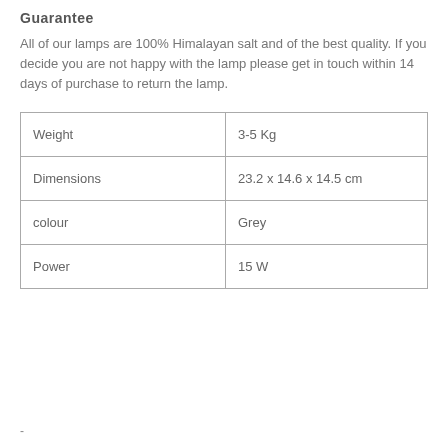Guarantee
All of our lamps are 100% Himalayan salt and of the best quality. If you decide you are not happy with the lamp please get in touch within 14 days of purchase to return the lamp.
| Weight | 3-5 Kg |
| Dimensions | 23.2 x 14.6 x 14.5 cm |
| colour | Grey |
| Power | 15 W |
-